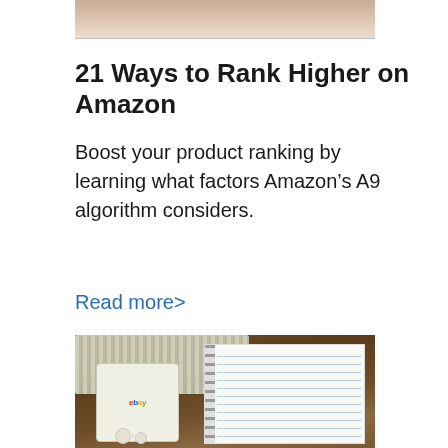[Figure (photo): Top portion of a photo, cropped — shows a warm-toned background, partially visible]
21 Ways to Rank Higher on Amazon
Boost your product ranking by learning what factors Amazon’s A9 algorithm considers.
Read more>
[Figure (photo): Photo of a keyboard, a smartphone displaying the eBay logo, earphones/earbuds, and a spiral notebook on a wooden table surface]